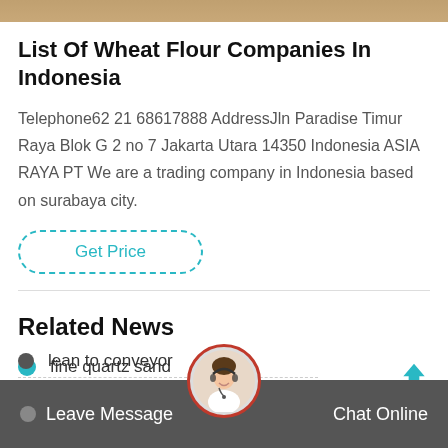[Figure (photo): Partial photo strip at the top of the page]
List Of Wheat Flour Companies In Indonesia
Telephone62 21 68617888 AddressJln Paradise Timur Raya Blok G 2 no 7 Jakarta Utara 14350 Indonesia ASIA RAYA PT We are a trading company in Indonesia based on surabaya city.
Get Price
Related News
fine quartz sand
lean to conveyor
[Figure (photo): Customer service agent avatar in circular frame with red border]
Leave Message   Chat Online